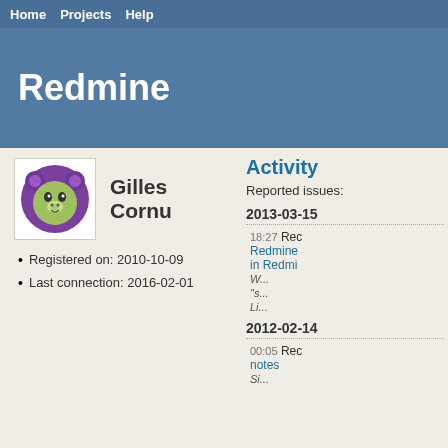Home  Projects  Help
Redmine
[Figure (illustration): User avatar: circular purple bear/creature illustration inside a white bordered box]
Gilles Cornu
Registered on: 2010-10-09
Last connection: 2016-02-01
Activity
Reported issues:
2013-03-15
18:27 Red... Redmine... in Redmi... W... "s... Li...
2012-02-14
00:05 Red... notes Si...